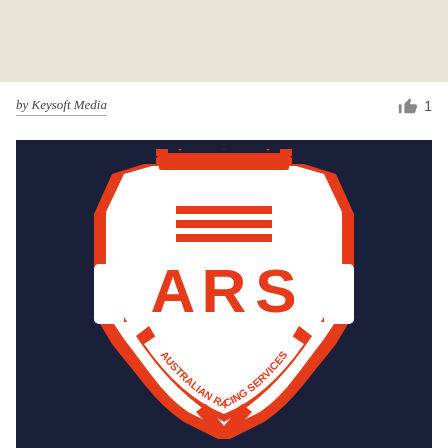[Figure (other): Top partial image area with beige/tan background, cropped]
by Keysoft Media
[Figure (logo): Australian Racing Services (ARS) shield logo on dark navy background. Red and white crest with crown on top, bold letters ARS in the center, and text AUSTRALIAN RACING SERVICES along the bottom banner.]